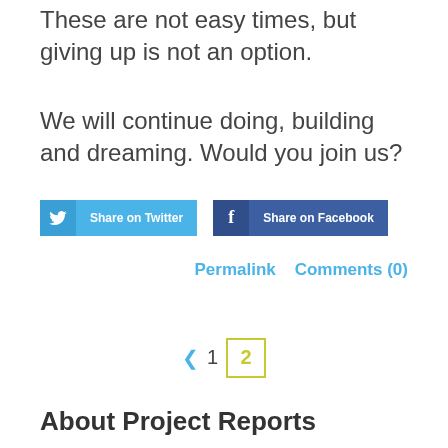These are not easy times, but giving up is not an option.
We will continue doing, building and dreaming. Would you join us?
[Figure (other): Share on Twitter and Share on Facebook buttons]
Permalink   Comments (0)
◄  1  2
About Project Reports